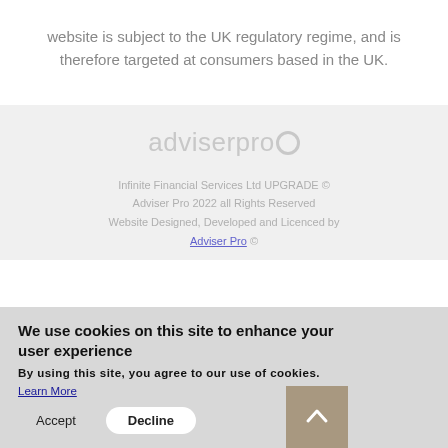website is subject to the UK regulatory regime, and is therefore targeted at consumers based in the UK.
[Figure (logo): adviserpro logo in light grey text]
Infinite Financial Services Ltd UPGRADE © Adviser Pro 2022 all Rights Reserved Website Designed, Developed and Licenced by Adviser Pro ©
We use cookies on this site to enhance your user experience
By using this site, you agree to our use of cookies. Learn More
Accept  Decline